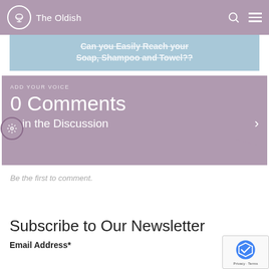The Oldish
[Figure (screenshot): Blue banner with text: Can you Easily Reach your Soap, Shampoo and Towel??]
ADD YOUR VOICE
0 Comments
Join the Discussion
Be the first to comment.
Subscribe to Our Newsletter
Email Address*